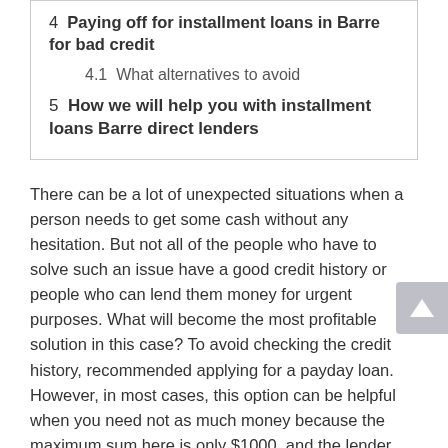4  Paying off for installment loans in Barre for bad credit
4.1  What alternatives to avoid
5  How we will help you with installment loans Barre direct lenders
There can be a lot of unexpected situations when a person needs to get some cash without any hesitation. But not all of the people who have to solve such an issue have a good credit history or people who can lend them money for urgent purposes. What will become the most profitable solution in this case? To avoid checking the credit history, recommended applying for a payday loan. However, in most cases, this option can be helpful when you need not as much money because the maximum sum here is only $1000, and the lender can give money only for 45 days. If you understand that this sum or time isn't enough for you